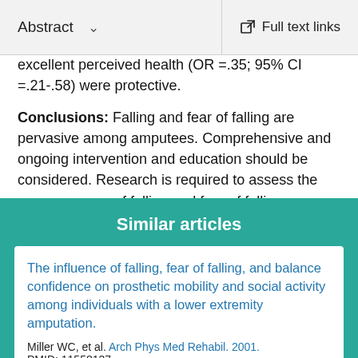Abstract   Full text links
excellent perceived health (OR =.35; 95% CI =.21-.58) were protective.
Conclusions: Falling and fear of falling are pervasive among amputees. Comprehensive and ongoing intervention and education should be considered. Research is required to assess the consequences of falling and fear of falling.
Similar articles
The influence of falling, fear of falling, and balance confidence on prosthetic mobility and social activity among individuals with a lower extremity amputation.
Miller WC, et al. Arch Phys Med Rehabil. 2001.
PMID: 11558137